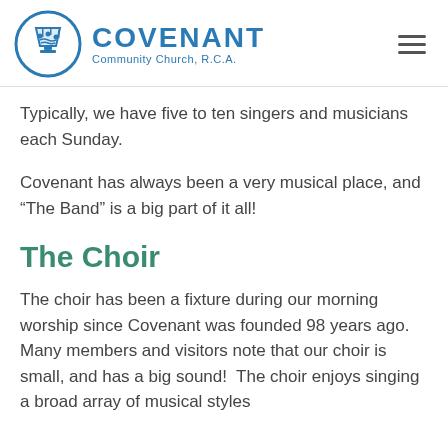COVENANT Community Church, R.C.A.
Typically, we have five to ten singers and musicians each Sunday.
Covenant has always been a very musical place, and “The Band” is a big part of it all!
The Choir
The choir has been a fixture during our morning worship since Covenant was founded 98 years ago.  Many members and visitors note that our choir is small, and has a big sound!  The choir enjoys singing a broad array of musical styles